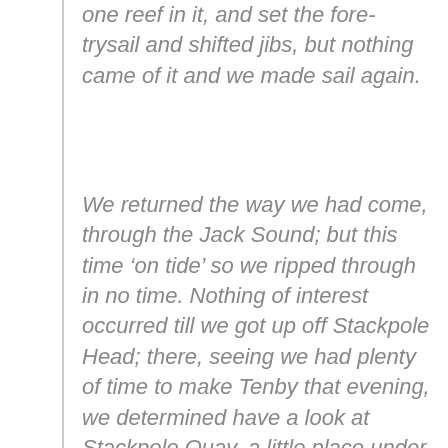one reef in it, and set the fore-trysail and shifted jibs, but nothing came of it and we made sail again.
We returned the way we had come, through the Jack Sound; but this time ‘on tide’ so we ripped through in no time. Nothing of interest occurred till we got up off Stackpole Head; there, seeing we had plenty of time to make Tenby that evening, we determined have a look at Stackpole Quay, a little place under the head. We let go the anchor in the bay, and pulled ashore in the Berthon; but the ‘run’ on the big stones, which form the beach, was too much for the dinghy’s constitution, we thought; so we had to be